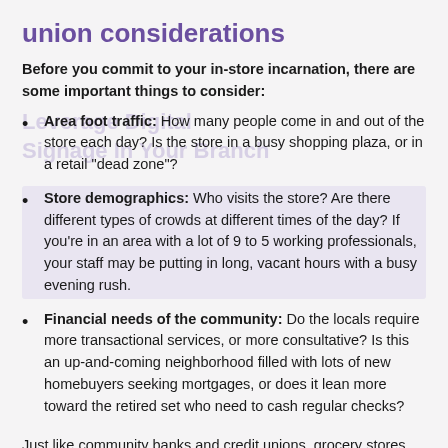union considerations
Before you commit to your in-store incarnation, there are some important things to consider:
Area foot traffic: How many people come in and out of the store each day? Is the store in a busy shopping plaza, or in a retail “dead zone”?
Store demographics: Who visits the store? Are there different types of crowds at different times of the day? If you’re in an area with a lot of 9 to 5 working professionals, your staff may be putting in long, vacant hours with a busy evening rush.
Financial needs of the community: Do the locals require more transactional services, or more consultative? Is this an up-and-coming neighborhood filled with lots of new homebuyers seeking mortgages, or does it lean more toward the retired set who need to cash regular checks?
Just like community banks and credit unions, grocery stores large and small are competing with online retailers and